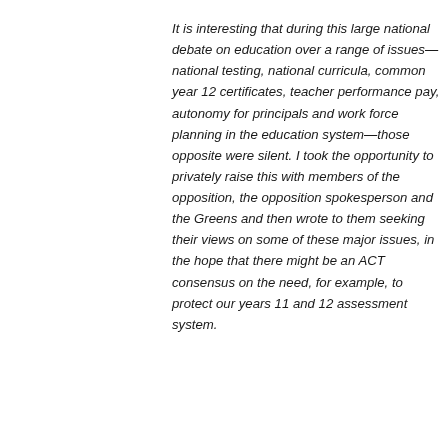It is interesting that during this large national debate on education over a range of issues—national testing, national curricula, common year 12 certificates, teacher performance pay, autonomy for principals and work force planning in the education system—those opposite were silent. I took the opportunity to privately raise this with members of the opposition, the opposition spokesperson and the Greens and then wrote to them seeking their views on some of these major issues, in the hope that there might be an ACT consensus on the need, for example, to protect our years 11 and 12 assessment system.